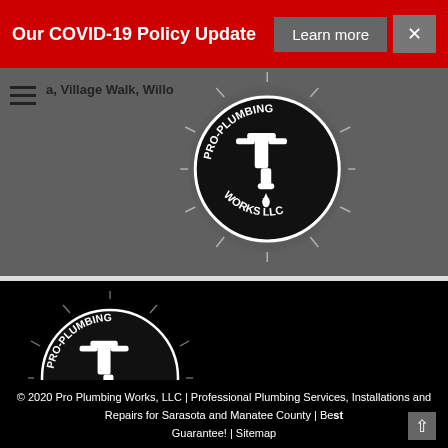Our COVID-19 Policy Update   Learn more   ×
a, Village Walk, Willo…
[Figure (logo): Pro-Plumbing Works LLC logo in header — circular badge with faucet dripping water, glowing starburst effect, black and white]
[Figure (logo): Pro-Plumbing Works LLC logo in footer — circular badge with faucet dripping water, glowing starburst effect, black and white, larger version]
© 2020 Pro Plumbing Works, LLC | Professional Plumbing Services, Installations and Repairs for Sarasota and Manatee County | Best Guarantee! | Sitemap